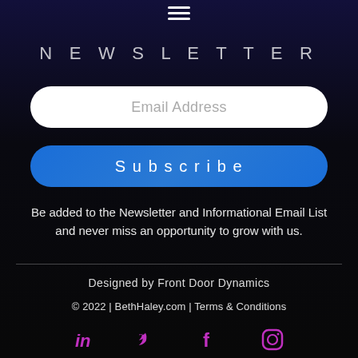☰
NEWSLETTER
Email Address
Subscribe
Be added to the Newsletter and Informational Email List and never miss an opportunity to grow with us.
Designed by Front Door Dynamics
© 2022 | BethHaley.com | Terms & Conditions
[Figure (other): Social media icons: LinkedIn, Twitter, Facebook, Instagram in purple color]